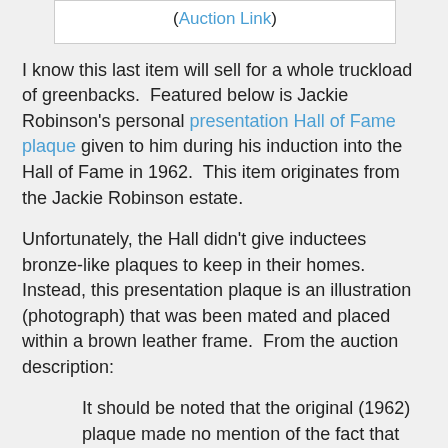(Auction Link)
I know this last item will sell for a whole truckload of greenbacks.  Featured below is Jackie Robinson's personal presentation Hall of Fame plaque given to him during his induction into the Hall of Fame in 1962.  This item originates from the Jackie Robinson estate.
Unfortunately, the Hall didn't give inductees bronze-like plaques to keep in their homes.  Instead, this presentation plaque is an illustration (photograph) that was been mated and placed within a brown leather frame.  From the auction description:
It should be noted that the original (1962) plaque made no mention of the fact that Robinson broke baseball's color-barrier and differs from that which resides in Cooperstown today. The current plaque was re-cast in 2008 with text added in the final line that reads: “Displayed tremendous